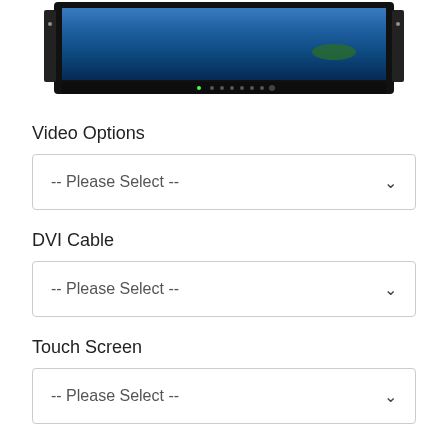[Figure (photo): Rack-mount monitor/display unit with a blue ocean/landscape image on screen, showing front panel with buttons and indicators]
Video Options
-- Please Select --
DVI Cable
-- Please Select --
Touch Screen
-- Please Select --